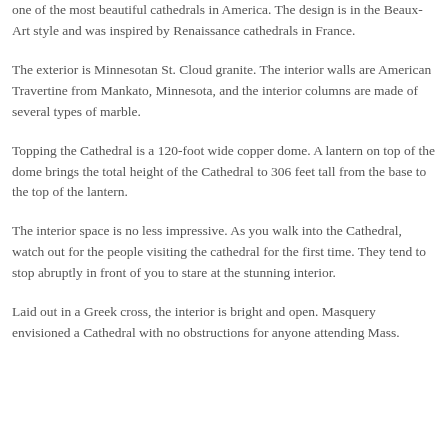one of the most beautiful cathedrals in America. The design is in the Beaux-Art style and was inspired by Renaissance cathedrals in France.
The exterior is Minnesotan St. Cloud granite. The interior walls are American Travertine from Mankato, Minnesota, and the interior columns are made of several types of marble.
Topping the Cathedral is a 120-foot wide copper dome. A lantern on top of the dome brings the total height of the Cathedral to 306 feet tall from the base to the top of the lantern.
The interior space is no less impressive. As you walk into the Cathedral, watch out for the people visiting the cathedral for the first time. They tend to stop abruptly in front of you to stare at the stunning interior.
Laid out in a Greek cross, the interior is bright and open. Masquery envisioned a Cathedral with no obstructions for anyone attending Mass.